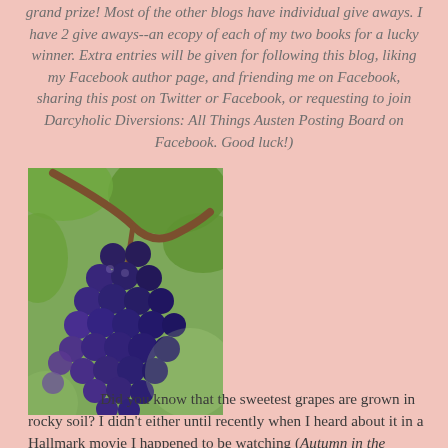grand prize! Most of the other blogs have individual give aways. I have 2 give aways--an ecopy of each of my two books for a lucky winner. Extra entries will be given for following this blog, liking my Facebook author page, and friending me on Facebook, sharing this post on Twitter or Facebook, or requesting to join Darcyholic Diversions: All Things Austen Posting Board on Facebook. Good luck!)
[Figure (photo): A close-up photograph of dark purple/blue grapes hanging on a vine with green leaves visible in the background.]
Did you know that the sweetest grapes are grown in rocky soil? I didn't either until recently when I heard about it in a Hallmark movie I happened to be watching (Autumn in the Vineyard). So, I looked it up and found that it was true. It made a lot of sense to me, not just